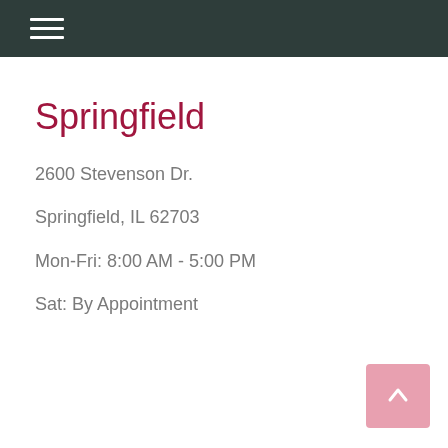Springfield
2600 Stevenson Dr.
Springfield, IL 62703
Mon-Fri: 8:00 AM - 5:00 PM
Sat: By Appointment